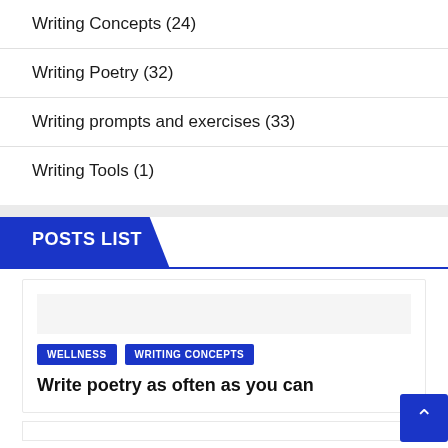Writing Concepts (24)
Writing Poetry (32)
Writing prompts and exercises (33)
Writing Tools (1)
POSTS LIST
WELLNESS   WRITING CONCEPTS
Write poetry as often as you can